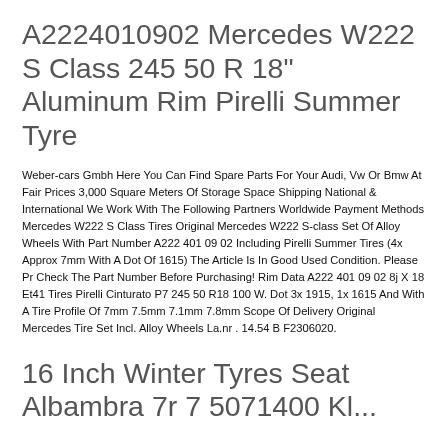A2224010902 Mercedes W222 S Class 245 50 R 18" Aluminum Rim Pirelli Summer Tyre
Weber-cars Gmbh Here You Can Find Spare Parts For Your Audi, Vw Or Bmw At Fair Prices 3,000 Square Meters Of Storage Space Shipping National & International We Work With The Following Partners Worldwide Payment Methods Mercedes W222 S Class Tires Original Mercedes W222 S-class Set Of Alloy Wheels With Part Number A222 401 09 02 Including Pirelli Summer Tires (4x Approx 7mm With A Dot Of 1615) The Article Is In Good Used Condition. Please Pr Check The Part Number Before Purchasing! Rim Data A222 401 09 02 8j X 18 Et41 Tires Pirelli Cinturato P7 245 50 R18 100 W. Dot 3x 1915, 1x 1615 And With A Tire Profile Of 7mm 7.5mm 7.1mm 7.8mm Scope Of Delivery Original Mercedes Tire Set Incl. Alloy Wheels La.nr . 14.54 B F2306020.
16 Inch Winter Tyres Seat Albambra 7r 7 5071400 Kl...